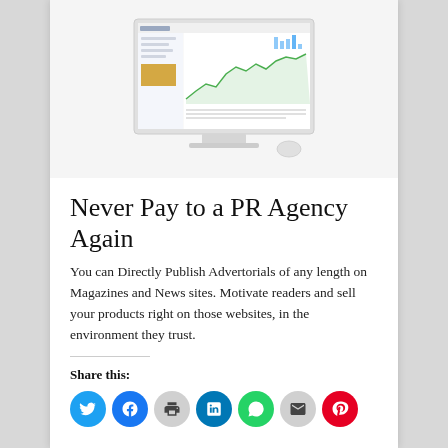[Figure (screenshot): A monitor/computer screen displaying a dashboard or analytics software with charts, graphs, and data tables visible on the screen.]
Never Pay to a PR Agency Again
You can Directly Publish Advertorials of any length on Magazines and News sites. Motivate readers and sell your products right on those websites, in the environment they trust.
Share this: